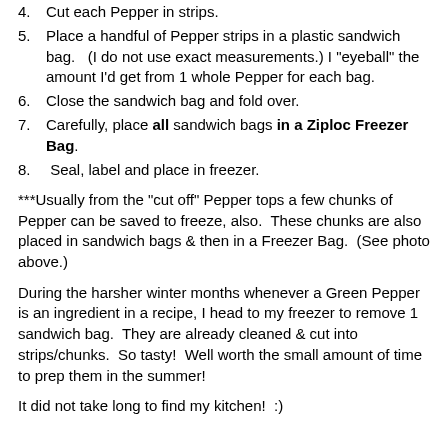4. Cut each Pepper in strips.
5. Place a handful of Pepper strips in a plastic sandwich bag.   (I do not use exact measurements.) I "eyeball" the amount I'd get from 1 whole Pepper for each bag.
6. Close the sandwich bag and fold over.
7. Carefully, place all sandwich bags in a Ziploc Freezer Bag.
8.  Seal, label and place in freezer.
***Usually from the "cut off" Pepper tops a few chunks of Pepper can be saved to freeze, also.  These chunks are also placed in sandwich bags & then in a Freezer Bag.  (See photo above.)
During the harsher winter months whenever a Green Pepper is an ingredient in a recipe, I head to my freezer to remove 1 sandwich bag.  They are already cleaned & cut into strips/chunks.  So tasty!  Well worth the small amount of time to prep them in the summer!
It did not take long to find my kitchen!  :)